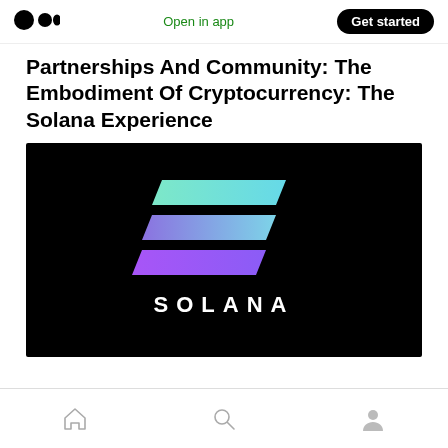Medium app header with logo, Open in app link, and Get started button
Partnerships And Community: The Embodiment Of Cryptocurrency: The Solana Experience
[Figure (logo): Solana logo on black background — three parallelogram chevron shapes in gradient from teal/mint (top), purple/blue (middle), to violet/pink (bottom), with SOLANA text in white spaced letters below]
Bottom navigation bar with Home, Search, and Profile icons